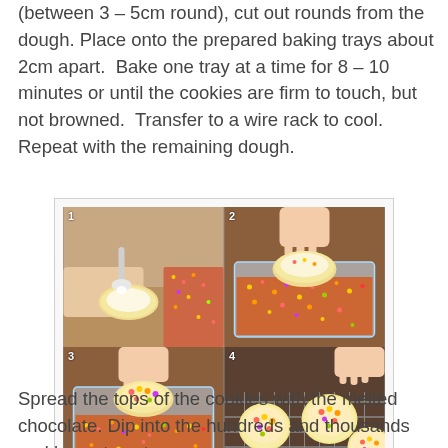(between 3 – 5cm round), cut out rounds from the dough. Place onto the prepared baking trays about 2cm apart.  Bake one tray at a time for 8 – 10 minutes or until the cookies are firm to touch, but not browned.  Transfer to a wire rack to cool.  Repeat with the remaining dough.
[Figure (photo): Four-panel numbered photo collage showing cookie decorating steps: (1) spreading white icing/chocolate on a cookie with a spoon, (2) pressing iced cookie into a container of colorful hundreds-and-thousands sprinkles, (3) lifting the cookie out of the sprinkles container, (4) finished sprinkle-coated cookies cooling on a wire rack.]
Spread the tops of the cookies with the melted chocolate. Dip into the hundreds and thousands and leave to set on a